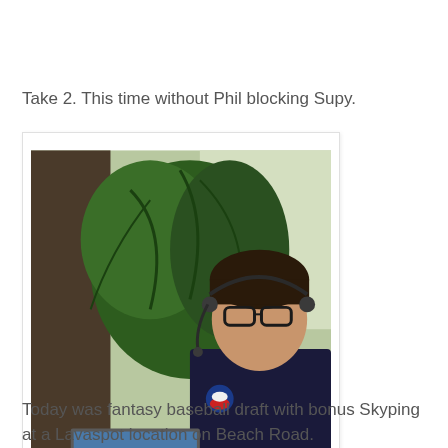Take 2. This time without Phil blocking Supy.
[Figure (photo): A man wearing glasses and a headset sits at a table with a laptop, in what appears to be a cafe or lounge with tropical plants visible in the background. He is wearing a dark shirt with a circular logo/badge on it.]
Today was fantasy baseball draft with bonus Skyping at a Lavaspot location on Beach Road.